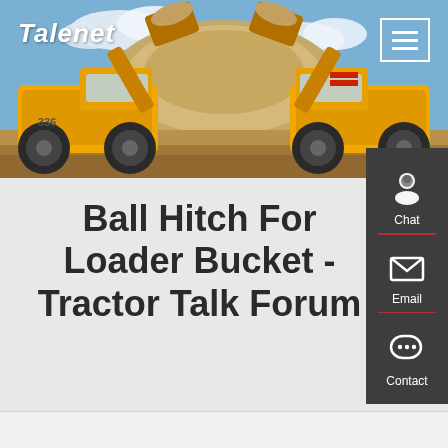[Figure (photo): Two large yellow wheel loaders (front-end loaders) facing each other with raised buckets full of dirt/sand, at a construction/mining site with blue sky and sandy hills in the background.]
Talenet
Ball Hitch For Loader Bucket - Tractor Talk Forum